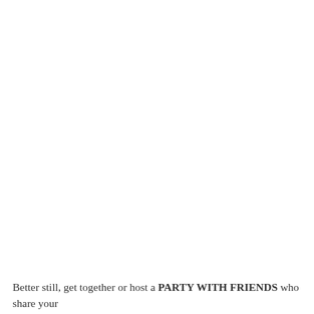Better still, get together or host a PARTY WITH FRIENDS who share your